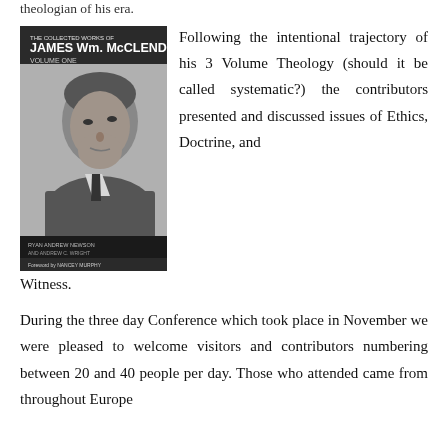theologian of his era.
[Figure (photo): Book cover: The Collected Works of James Wm. McClendon Jr., Volume One, featuring a black and white portrait photo of McClendon looking upward. Edited by Ryan Andrew Newson and Andrew C. Wright, foreword by Nancey Murphy.]
Following the intentional trajectory of his 3 Volume Theology (should it be called systematic?) the contributors presented and discussed issues of Ethics, Doctrine, and Witness.
During the three day Conference which took place in November we were pleased to welcome visitors and contributors numbering between 20 and 40 people per day. Those who attended came from throughout Europe